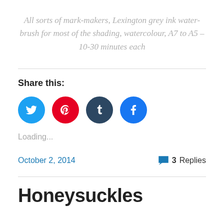All sorts of mark-makers, Lexington grey ink water-brush for most of the shading, watercolour, A7 to A5 – 10-30 minutes each
Share this:
[Figure (infographic): Four social media share buttons: Twitter (blue), Pinterest (red), Tumblr (dark blue), Facebook (blue)]
Loading...
October 2, 2014
3 Replies
Honeysuckles